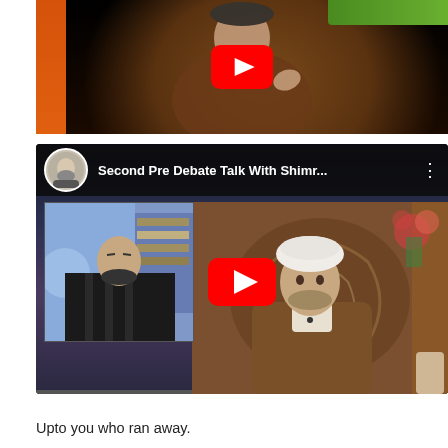[Figure (screenshot): YouTube video thumbnail showing a cleric in brown robe gesturing, with a red YouTube play button overlay, green banner at top right, orange panel on left side]
[Figure (screenshot): YouTube video player showing 'Second Pre Debate Talk With Shimr...' with avatar icon, dots menu, and two people visible: a bearded man in a call window on the left, and a cleric in white turban and brown robe on the right. Large red YouTube play button in center.]
Upto you who ran away.